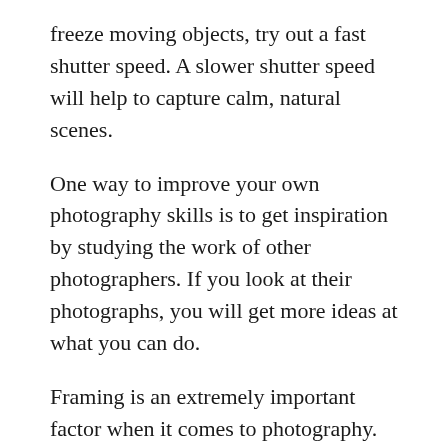freeze moving objects, try out a fast shutter speed. A slower shutter speed will help to capture calm, natural scenes.
One way to improve your own photography skills is to get inspiration by studying the work of other photographers. If you look at their photographs, you will get more ideas at what you can do.
Framing is an extremely important factor when it comes to photography. Make sure to zoom in on the focus of the picture, and keep distracting elements out of the picture. This can eliminate unwanted focal points and keep clutter in your photographs at bay.
Many people think sunny days are great for photos, but direct sunlight can ruin nearly any image. Sunlight can cast bad shadows, weird highlights and give your subject